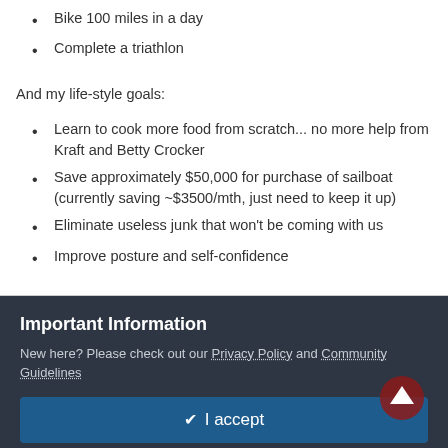Bike 100 miles in a day
Complete a triathlon
And my life-style goals:
Learn to cook more food from scratch... no more help from Kraft and Betty Crocker
Save approximately $50,000 for purchase of sailboat (currently saving ~$3500/mth, just need to keep it up)
Eliminate useless junk that won't be coming with us
Improve posture and self-confidence
Have any suggestions for me? I'm all ears! Thanks guys!
Important Information
New here? Please check out our Privacy Policy and Community Guidelines
✔ I accept